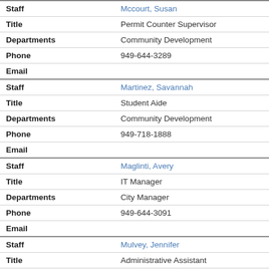| Field | Value |
| --- | --- |
| Staff | Mccourt, Susan |
| Title | Permit Counter Supervisor |
| Departments | Community Development |
| Phone | 949-644-3289 |
| Email |  |
| Staff | Martinez, Savannah |
| Title | Student Aide |
| Departments | Community Development |
| Phone | 949-718-1888 |
| Email |  |
| Staff | Maglinti, Avery |
| Title | IT Manager |
| Departments | City Manager |
| Phone | 949-644-3091 |
| Email |  |
| Staff | Mulvey, Jennifer |
| Title | Administrative Assistant |
| Departments | City Clerk |
| Phone | 949-644-3026 |
| Email |  |
| Staff | Mullinax, Carrera |
| Title | Paralegal |
| Departments | City Attorney |